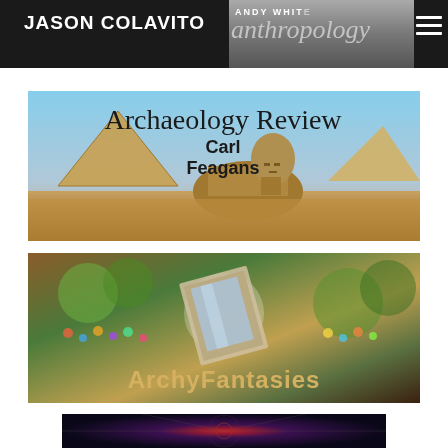JASON COLAVITO
[Figure (illustration): Andy White anthropology banner with grey background and text 'ANDY WHITE' and 'anthropology' in italic]
[Figure (illustration): Archaeology Review banner by Carl Feagans showing the Great Sphinx and pyramids of Giza with blue sky]
[Figure (illustration): ArchyFantasies banner showing a colorful forest scene with a framed picture/portal and text 'ArchyFantasies' at bottom]
[Figure (illustration): Partial banner at bottom, dark with radial design, partially cut off]